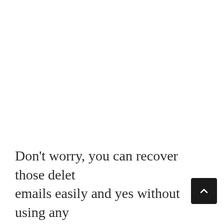Don't worry, you can recover those deleted emails easily and yes without using any